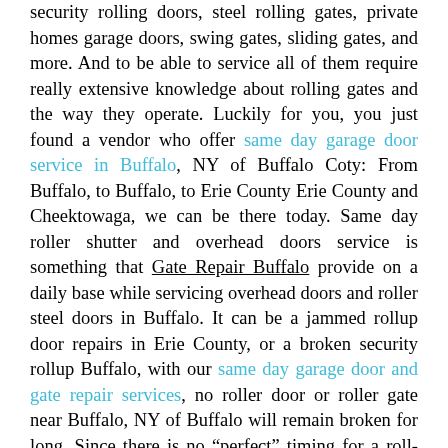security rolling doors, steel rolling gates, private homes garage doors, swing gates, sliding gates, and more. And to be able to service all of them require really extensive knowledge about rolling gates and the way they operate. Luckily for you, you just found a vendor who offer same day garage door service in Buffalo, NY of Buffalo Coty: From Buffalo, to Buffalo, to Erie County Erie County and Cheektowaga, we can be there today. Same day roller shutter and overhead doors service is something that Gate Repair Buffalo provide on a daily base while servicing overhead doors and roller steel doors in Buffalo. It can be a jammed rollup door repairs in Erie County, or a broken security rollup Buffalo, with our same day garage door and gate repair services, no roller door or roller gate near Buffalo, NY of Buffalo will remain broken for long. Since there is no “perfect” timing for a roll-down to get jammed or to break, you may need the